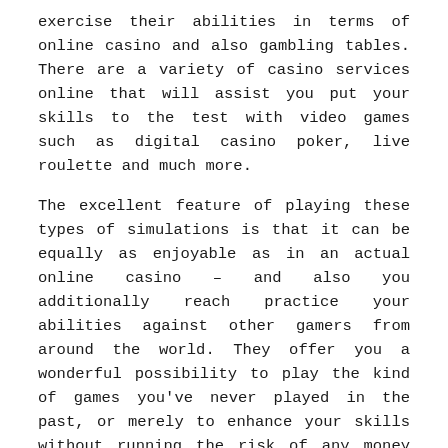exercise their abilities in terms of online casino and also gambling tables. There are a variety of casino services online that will assist you put your skills to the test with video games such as digital casino poker, live roulette and much more.
The excellent feature of playing these types of simulations is that it can be equally as enjoyable as in an actual online casino – and also you additionally reach practice your abilities against other gamers from around the world. They offer you a wonderful possibility to play the kind of games you've never played in the past, or merely to enhance your skills without running the risk of any money initially. If you do make a decision to try this it is necessary to be mindful that you require to be mindful that you are just having fun with digital money!
You are not limited to virtual login joker123 gambling establishments since you with can then even actually